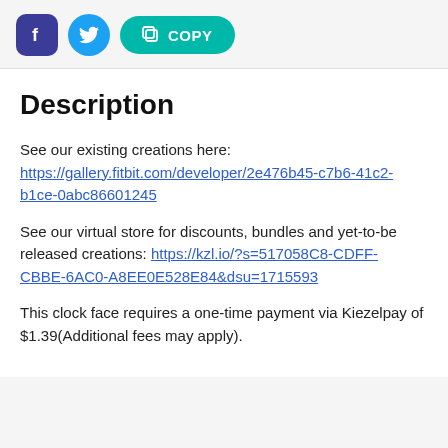[Figure (other): Social share buttons: Facebook (dark purple rounded square), Twitter (blue circle), and COPY (teal pill button with copy icon)]
Description
See our existing creations here:
https://gallery.fitbit.com/developer/2e476b45-c7b6-41c2-b1ce-0abc86601245
See our virtual store for discounts, bundles and yet-to-be released creations: https://kzl.io/?s=517058C8-CDFF-CBBE-6AC0-A8EE0E528E84&dsu=1715593
This clock face requires a one-time payment via Kiezelpay of $1.39(Additional fees may apply).